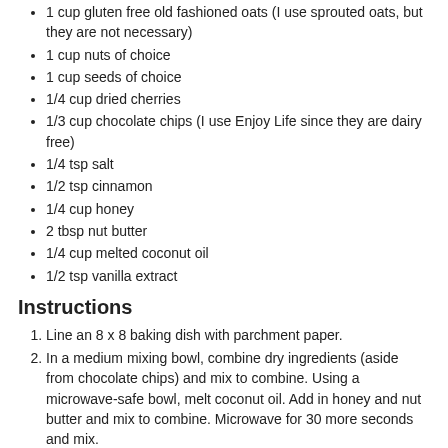1 cup gluten free old fashioned oats (I use sprouted oats, but they are not necessary)
1 cup nuts of choice
1 cup seeds of choice
1/4 cup dried cherries
1/3 cup chocolate chips (I use Enjoy Life since they are dairy free)
1/4 tsp salt
1/2 tsp cinnamon
1/4 cup honey
2 tbsp nut butter
1/4 cup melted coconut oil
1/2 tsp vanilla extract
Instructions
Line an 8 x 8 baking dish with parchment paper.
In a medium mixing bowl, combine dry ingredients (aside from chocolate chips) and mix to combine. Using a microwave-safe bowl, melt coconut oil. Add in honey and nut butter and mix to combine. Microwave for 30 more seconds and mix.
Pour wet ingredients over dry ingredients and mix until fully incorporated. Add in chocolate chips and again mix.
Spoon granola mixture into prepared pan and push down as firmly as you can. Use a piece of wax paper to push down if necessary.
Refrigerate for 2-3 hours until set and then pull out and slice. Store in fridge for up to a week.
Recipe Notes
My favorite combination for this recipe is 1 cup pecan pieces, 1/2 cup sliced almonds, 1/2 cup sunflower seeds with dried cherries and chocolate chips. But